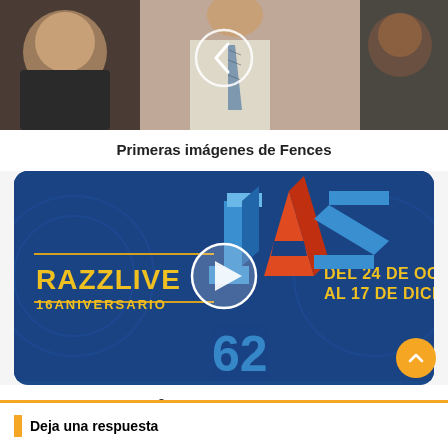[Figure (photo): Screenshot of a film still showing three people: a heavyset man on the left, a man in a dress shirt and tie in the center with a navigation arrow overlay, and a woman on the right. Dark/gritty scene, appears to be from the movie Fences.]
Primeras imágenes de Fences
[Figure (screenshot): Promotional banner for Razzlive 16 Aniversario on a dark blue background. Large colorful 3D letters spelling 'JAZZ' in blue, orange, and yellow. Left side reads 'RAZZLIVE 16 ANIVERSARIO', right side reads 'DEL 24 DE OC AL 17 DE DICI'. A play button circle is overlaid in the center.]
Cartel completo del 16º aniversario de Razzmatazz
Deja una respuesta